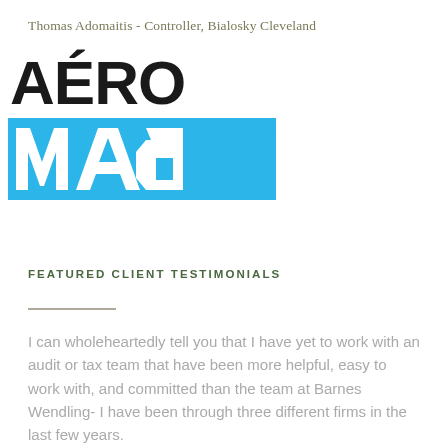Thomas Adomaitis - Controller, Bialosky Cleveland
[Figure (logo): AÉRO MAG logo with large black AÉRO text and blue angular MAG lettering below]
FEATURED CLIENT TESTIMONIALS
I can wholeheartedly tell you that I have yet to work with an audit or tax team that have been more helpful, easy to work with, and committed than the team at Barnes Wendling- I have been through three different firms in the last few years.